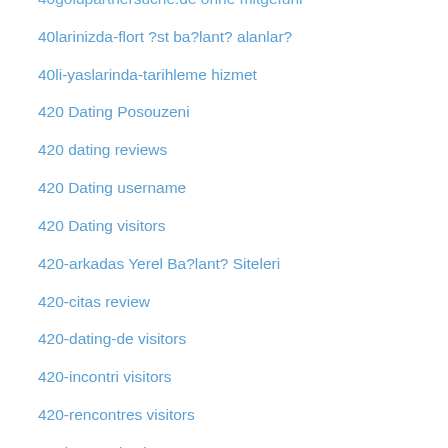40goldpartnersuche.de ohne mitgefühl
40larinizda-flort ?st ba?lant? alanlar?
40li-yaslarinda-tarihleme hizmet
420 Dating Posouzeni
420 dating reviews
420 Dating username
420 Dating visitors
420-arkadas Yerel Ba?lant? Siteleri
420-citas review
420-dating-de visitors
420-incontri visitors
420-rencontres visitors
45 day payday loans
45 payday loan
5 Deposit best canadian casinos online